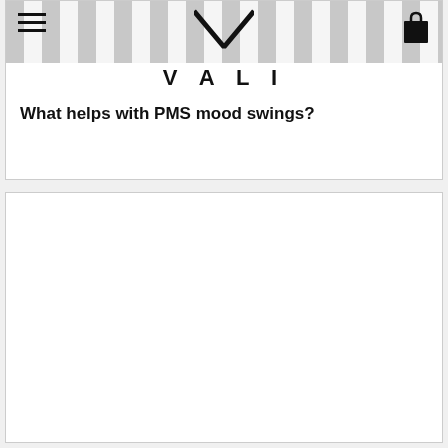[Figure (photo): Top portion of a website page for VALI brand showing a striped black and white pattern background with a person wearing a striped outfit, a hamburger menu icon on the top left, a shopping bag icon on the top right, and a V-shaped logo mark in the center top area.]
VALI
What helps with PMS mood swings?